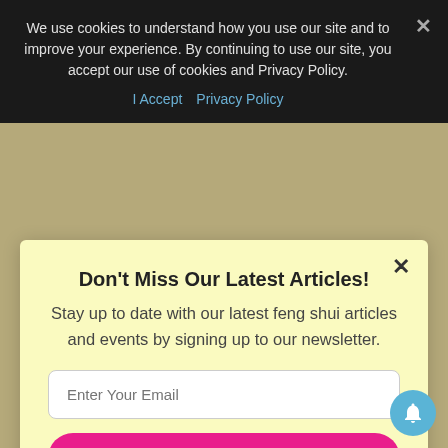We use cookies to understand how you use our site and to improve your experience. By continuing to use our site, you accept our use of cookies and Privacy Policy.
I Accept   Privacy Policy
SMOOTH
While relationship luck was great last year,
Don't Miss Our Latest Articles!
Stay up to date with our latest feng shui articles and events by signing up to our newsletter.
Enter Your Email
SUBSCRIBE NOW
No thanks, I'm not interested